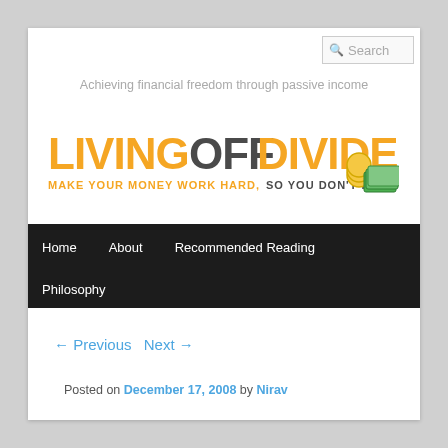Search
Achieving financial freedom through passive income
[Figure (logo): Living Off Dividends logo with text LIVINGOFFDIVIDENDS and tagline MAKE YOUR MONEY WORK HARD, SO YOU DON'T HAVE TO with coins and money illustration]
Home    About    Recommended Reading    Philosophy
← Previous    Next →
Posted on December 17, 2008 by Nirav